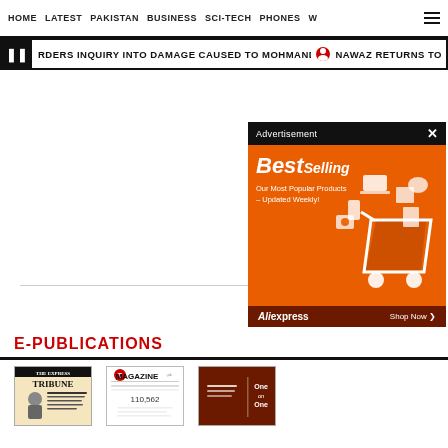HOME  LATEST  PAKISTAN  BUSINESS  SCI-TECH  PHONES  W
RDERS INQUIRY INTO DAMAGE CAUSED TO MOHMAND DAM  ●  NAWAZ RETURNS TO
[Figure (screenshot): Advertisement popup overlay with 'BestSelling - Our Most Popular Products – Updated Weekly!' on orange background with AliExpress branding]
E-PUBLICATIONS
[Figure (photo): Tribune newspaper cover thumbnail]
[Figure (photo): T Magazine cover thumbnail]
[Figure (photo): Third publication cover thumbnail - dark red/maroon]